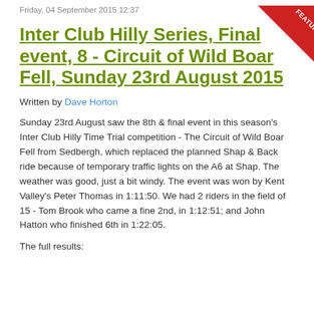Friday, 04 September 2015 12:37
Inter Club Hilly Series, Final event, 8 - Circuit of Wild Boar Fell, Sunday 23rd August 2015
Written by Dave Horton
Sunday 23rd August saw the 8th & final event in this season's Inter Club Hilly Time Trial competition - The Circuit of Wild Boar Fell from Sedbergh, which replaced the planned Shap & Back ride because of temporary traffic lights on the A6 at Shap. The weather was good, just a bit windy. The event was won by Kent Valley's Peter Thomas in 1:11:50. We had 2 riders in the field of 15 - Tom Brook who came a fine 2nd, in 1:12:51; and John Hatton who finished 6th in 1:22:05.
The full results: